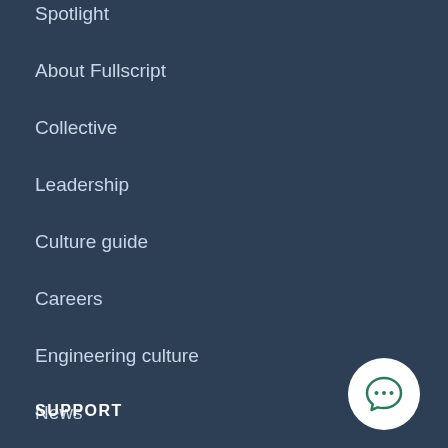Spotlight
About Fullscript
Collective
Leadership
Culture guide
Careers
Engineering culture
News
SUPPORT
[Figure (illustration): Chat/support bubble icon with three dots, white circle background on dark navy page background, bottom right corner]